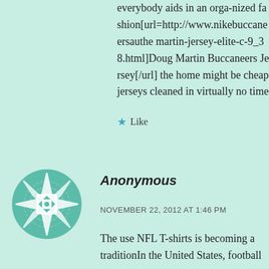everybody aids in an orga-nized fashion[url=http://www.nikebuccaneersauthe martin-jersey-elite-c-9_38.html]Doug Martin Buccaneers Jersey[/url] the home might be cheap jerseys cleaned in virtually no time
★ Like
[Figure (illustration): Geometric snowflake/mandala avatar icon in teal/white colors]
Anonymous
NOVEMBER 22, 2012 AT 1:46 PM
The use NFL T-shirts is becoming a traditionIn the United States, football